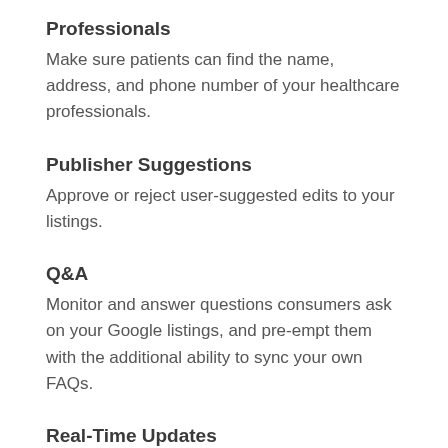Professionals
Make sure patients can find the name, address, and phone number of your healthcare professionals.
Publisher Suggestions
Approve or reject user-suggested edits to your listings.
Q&A
Monitor and answer questions consumers ask on your Google listings, and pre-empt them with the additional ability to sync your own FAQs.
Real-Time Updates
Stay in control of your critical business information